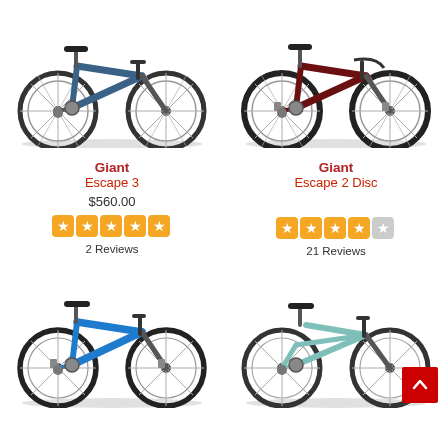[Figure (photo): Blue Giant Escape 3 bicycle, side view]
[Figure (photo): Dark red/maroon Giant Escape 2 Disc bicycle, side view]
Giant
Escape 3
$560.00
[Figure (other): 5 orange star rating icons]
2 Reviews
Giant
Escape 2 Disc
[Figure (other): 4 orange star rating icons and 1 grey star]
21 Reviews
[Figure (photo): Blue bicycle, side view, bottom row left]
[Figure (photo): Light blue/mint bicycle, side view, bottom row right]